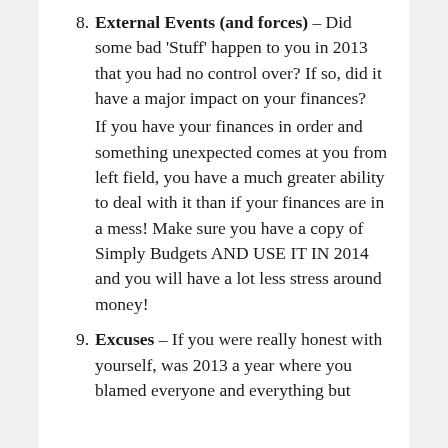External Events (and forces) – Did some bad 'Stuff' happen to you in 2013 that you had no control over? If so, did it have a major impact on your finances? If you have your finances in order and something unexpected comes at you from left field, you have a much greater ability to deal with it than if your finances are in a mess! Make sure you have a copy of Simply Budgets AND USE IT IN 2014 and you will have a lot less stress around money!
Excuses – If you were really honest with yourself, was 2013 a year where you blamed everyone and everything but